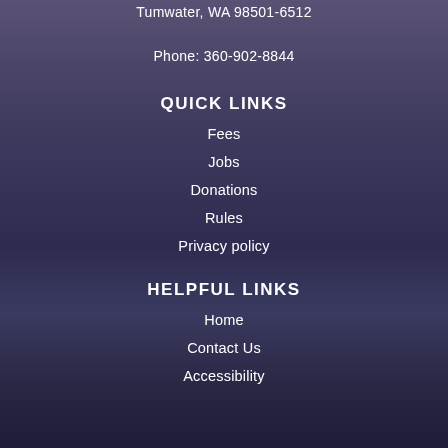Tumwater, WA 98501-6512
Phone: 360-902-8844
QUICK LINKS
Fees
Jobs
Donations
Rules
Privacy policy
HELPFUL LINKS
Home
Contact Us
Accessibility